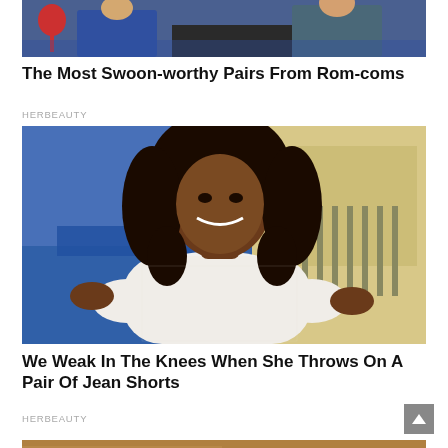[Figure (photo): Cropped photo showing people sitting on a couch, a man in a blue shirt and a woman in a blue dress, with a red balloon or drink visible on the left.]
The Most Swoon-worthy Pairs From Rom-coms
HERBEAUTY
[Figure (photo): A smiling young Black woman with long curly hair, wearing a white knit sweater, posing outdoors in front of a blue car and a building.]
We Weak In The Knees When She Throws On A Pair Of Jean Shorts
HERBEAUTY
[Figure (photo): Partially visible image at the bottom of the page.]